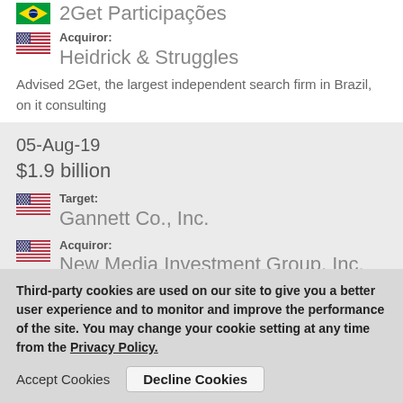2Get Participações
Acquiror: Heidrick & Struggles
Advised 2Get, the largest independent search firm in Brazil, on it consulting
05-Aug-19
$1.9 billion
Target: Gannett Co., Inc.
Acquiror: New Media Investment Group, Inc.
Advised Gannett Co., Inc., a media and marketing solutions comp
Third-party cookies are used on our site to give you a better user experience and to monitor and improve the performance of the site.  You may change your cookie setting at any time from the Privacy Policy.